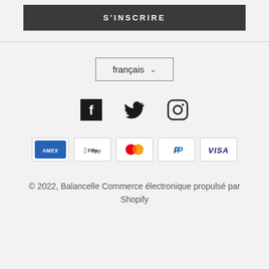S'INSCRIRE
français
[Figure (illustration): Social media icons: Facebook, Twitter, Instagram]
[Figure (illustration): Payment method icons: Amex, Apple Pay, Mastercard, PayPal, Visa]
© 2022, Balancelle Commerce électronique propulsé par Shopify